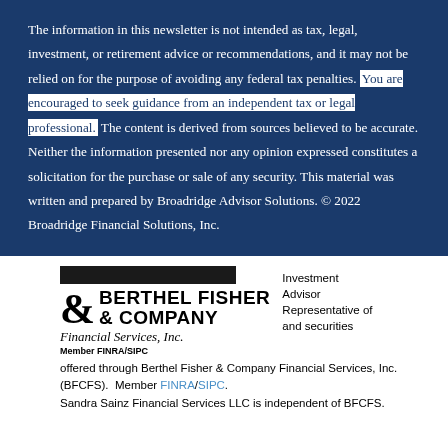The information in this newsletter is not intended as tax, legal, investment, or retirement advice or recommendations, and it may not be relied on for the purpose of avoiding any federal tax penalties. You are encouraged to seek guidance from an independent tax or legal professional. The content is derived from sources believed to be accurate. Neither the information presented nor any opinion expressed constitutes a solicitation for the purchase or sale of any security. This material was written and prepared by Broadridge Advisor Solutions. © 2022 Broadridge Financial Solutions, Inc.
[Figure (logo): Berthel Fisher & Company Financial Services, Inc. logo with black bar above, ampersand symbol, company name in bold, italic subtitle and Member FINRA/SIPC text]
Investment Advisor Representative of and securities offered through Berthel Fisher & Company Financial Services, Inc. (BFCFS).  Member FINRA/SIPC.
Sandra Sainz Financial Services LLC is independent of BFCFS.